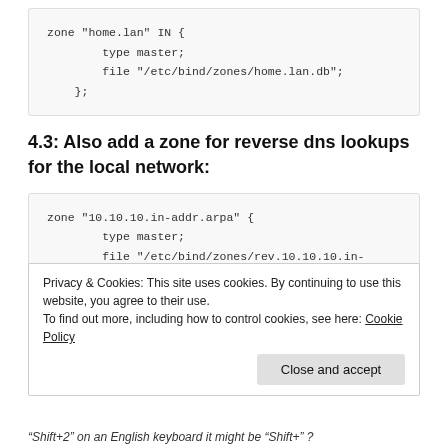[Figure (other): Code block showing DNS zone configuration for home.lan: zone "home.lan" IN { type master; file "/etc/bind/zones/home.lan.db"; };]
4.3: Also add a zone for reverse dns lookups for the local network:
[Figure (other): Code block showing DNS zone configuration for reverse lookup: zone "10.10.10.in-addr.arpa" { type master; file "/etc/bind/zones/rev.10.10.10.in-addr.arpa"]
Privacy & Cookies: This site uses cookies. By continuing to use this website, you agree to their use.
To find out more, including how to control cookies, see here: Cookie Policy
“Shift+2” on an English keyboard it might be “Shift+” ?